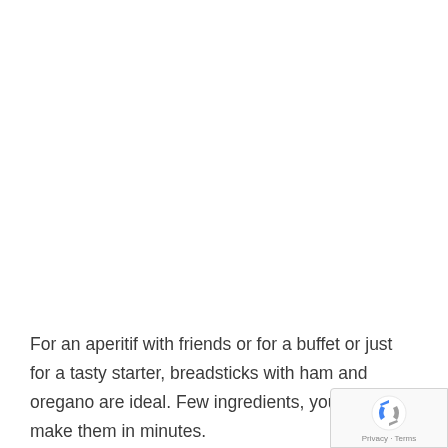For an aperitif with friends or for a buffet or just for a tasty starter, breadsticks with ham and oregano are ideal. Few ingredients, you can make them in minutes.